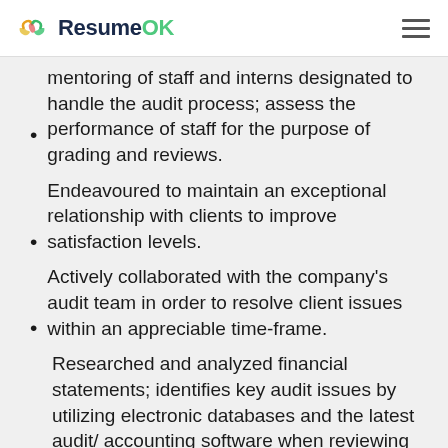ResumeOK
mentoring of staff and interns designated to handle the audit process; assess the performance of staff for the purpose of grading and reviews.
Endeavoured to maintain an exceptional relationship with clients to improve satisfaction levels.
Actively collaborated with the company's audit team in order to resolve client issues within an appreciable time-frame.
Researched and analyzed financial statements; identifies key audit issues by utilizing electronic databases and the latest audit/ accounting software when reviewing financial information.